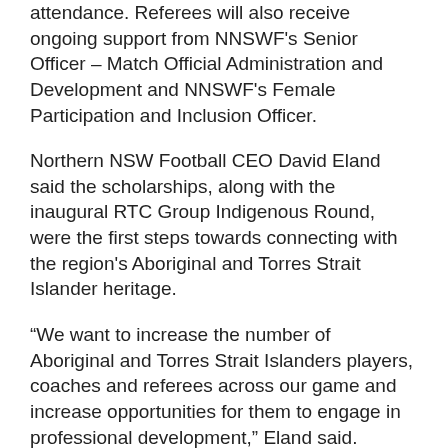attendance. Referees will also receive ongoing support from NNSWF's Senior Officer – Match Official Administration and Development and NNSWF's Female Participation and Inclusion Officer.
Northern NSW Football CEO David Eland said the scholarships, along with the inaugural RTC Group Indigenous Round, were the first steps towards connecting with the region's Aboriginal and Torres Strait Islander heritage.
“We want to increase the number of Aboriginal and Torres Strait Islanders players, coaches and referees across our game and increase opportunities for them to engage in professional development,” Eland said.
“This is a chance to identify and showcase the